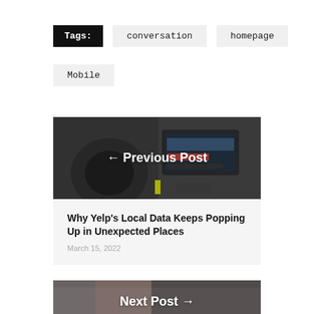Tags:  conversation  homepage  Mobile
[Figure (photo): Dark car interior dashboard with infotainment screen, overlaid with '← Previous Post' text in white bold font]
Why Yelp's Local Data Keeps Popping Up in Unexpected Places
March 15, 2022
[Figure (photo): Person standing near a white brick wall, partially visible, overlaid with 'Next Post →' text in white bold font]